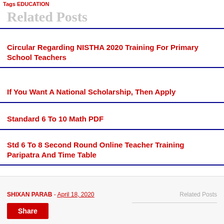Tags EDUCATION
Related Posts
Circular Regarding NISTHA 2020 Training For Primary School Teachers
If You Want A National Scholarship, Then Apply
Standard 6 To 10 Math PDF
Std 6 To 8 Second Round Online Teacher Training Paripatra And Time Table
Higher Salary Standard Option, Calculation Method, Grade, Salary Calculator Calculator, Circular:
SHIXAN PARAB - April 18, 2020   Related Posts   Share